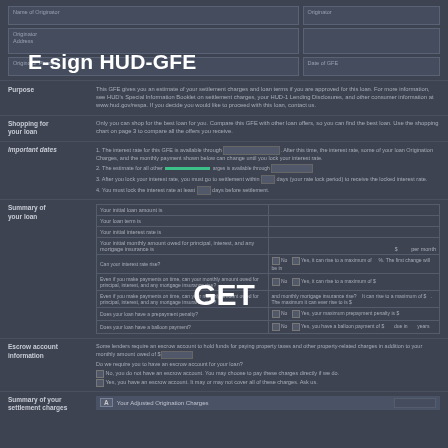E-sign HUD-GFE
E-sign HUD-GFE 2022
GET
Get Form
Purpose
This GFE gives you an estimate of your settlement charges and loan terms if you are approved for this loan. For more information, see HUD's Special Information Booklet on settlement charges, your HUD-1 Lending Disclosures, and other consumer information at www.hud.gov/respa. If you decide you would like to proceed with this loan, contact us.
Shopping for your loan
Only you can shop for the best loan for you. Compare this GFE with other loan offers, so you can find the best loan. Use the shopping chart on page 3 to compare all the offers you receive.
Important dates
Summary of your loan
Escrow account information
Summary of your settlement charges